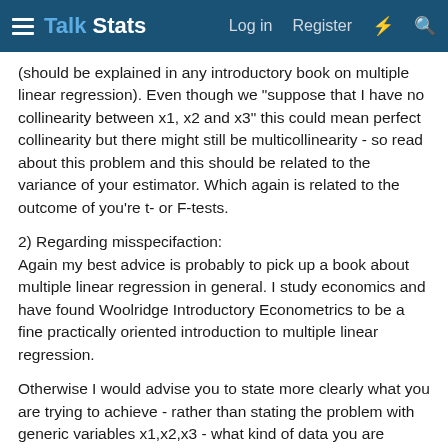Talk Stats | Log in | Register
(should be explained in any introductory book on multiple linear regression). Even though we "suppose that I have no collinearity between x1, x2 and x3" this could mean perfect collinearity but there might still be multicollinearity - so read about this problem and this should be related to the variance of your estimator. Which again is related to the outcome of you're t- or F-tests.
2) Regarding misspecifaction:
Again my best advice is probably to pick up a book about multiple linear regression in general. I study economics and have found Woolridge Introductory Econometrics to be a fine practically oriented introduction to multiple linear regression.
Otherwise I would advise you to state more clearly what you are trying to achieve - rather than stating the problem with generic variables x1,x2,x3 - what kind of data you are working on, what are you're theoretical hypothesis or simply commonsense expectations that you are trying to test and often most importantly assuming that this is schoolrelated: What are the